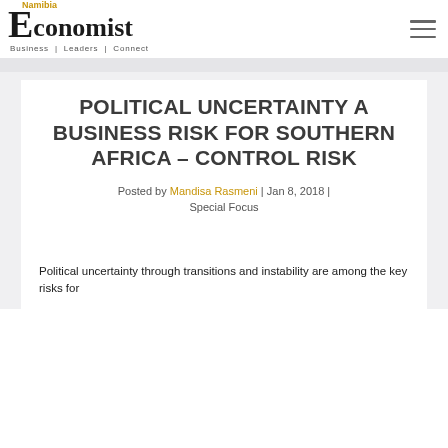[Figure (logo): Namibia Economist logo with large E, 'Namibia' in gold above, 'conomist' in black serif, tagline 'Business | Leaders | Connect']
POLITICAL UNCERTAINTY A BUSINESS RISK FOR SOUTHERN AFRICA – CONTROL RISK
Posted by Mandisa Rasmeni | Jan 8, 2018 | Special Focus
Political uncertainty through transitions and instability are among the key risks for